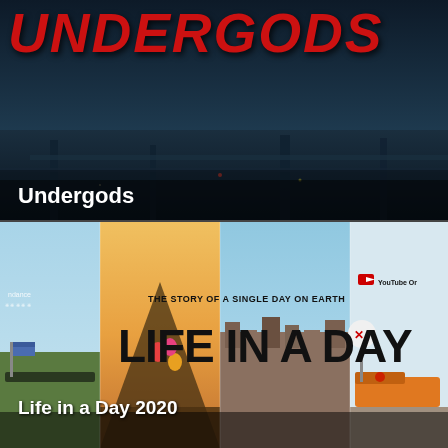[Figure (photo): Movie poster/thumbnail for 'Undergods' — dark industrial cityscape background with the title UNDERGODS in large red italic bold text at the top, and the movie title 'Undergods' in white bold text at the bottom left]
Undergods
[Figure (photo): Movie poster/thumbnail for 'Life in a Day 2020' — collage of multiple outdoor scenes including crowds, landscapes, a train at a railroad crossing, hot air balloons. Text reads 'THE STORY OF A SINGLE DAY ON EARTH' and 'LIFE IN A DAY' in large bold black letters. Sundance laurel on the left, YouTube Originals logo on the right. Caption 'Life in a Day 2020' in white at bottom left.]
Life in a Day 2020